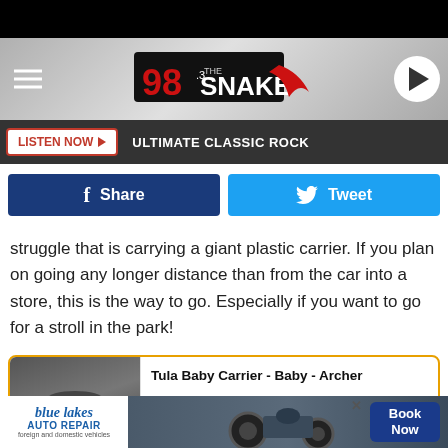98.3 The Snake - LISTEN NOW - ULTIMATE CLASSIC ROCK
[Figure (screenshot): Facebook Share button and Twitter Tweet button social sharing row]
struggle that is carrying a giant plastic carrier. If you plan on going any longer distance than from the car into a store, this is the way to go. Especially if you want to go for a stroll in the park!
Tula Baby Carrier - Baby - Archer
[Figure (photo): Product image showing person wearing hat, Amazon Prime logo visible]
[Figure (photo): Blue Lakes Auto Repair advertisement banner at bottom with Book Now button]